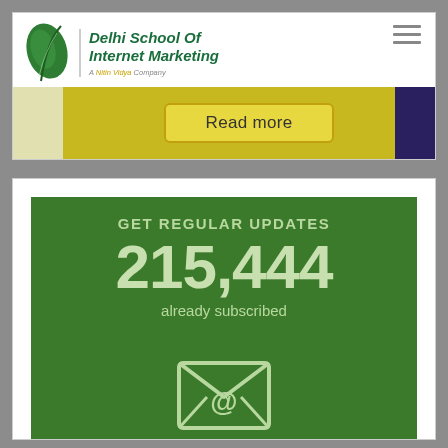[Figure (logo): Delhi School Of Internet Marketing logo — green feather/leaf icon with bold italic green text]
[Figure (screenshot): Yellow/gold banner strip with a 'Read more' button in center, dark navy strip on right]
GET REGULAR UPDATES
215,444
already subscribed
[Figure (illustration): Envelope with @ symbol icon, outline style in light color on green background]